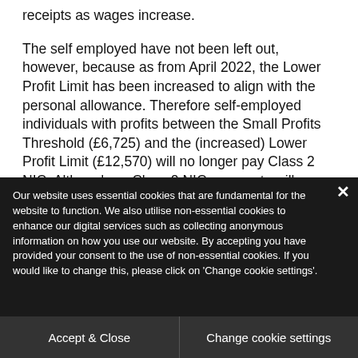receipts as wages increase.
The self employed have not been left out, however, because as from April 2022, the Lower Profit Limit has been increased to align with the personal allowance. Therefore self-employed individuals with profits between the Small Profits Threshold (£6,725) and the (increased) Lower Profit Limit (£12,570) will no longer pay Class 2 NIC. Although no Class 2 NIC payments will actually be paid, the year will still
Our website uses essential cookies that are fundamental for the website to function. We also utilise non-essential cookies to enhance our digital services such as collecting anonymous information on how you use our website. By accepting you have provided your consent to the use of non-essential cookies. If you would like to change this, please click on 'Change cookie settings'.
Accept & Close
Change cookie settings
same level although the Employment Allowance will increase